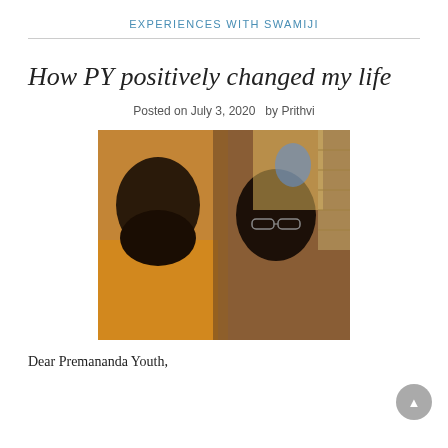EXPERIENCES WITH SWAMIJI
How PY positively changed my life
Posted on July 3, 2020  by Prithvi
[Figure (photo): Two men posing together — a bearded man in orange robes on the left, and a younger man with glasses on the right. A colorful religious painting is visible in the background.]
Dear Premananda Youth,